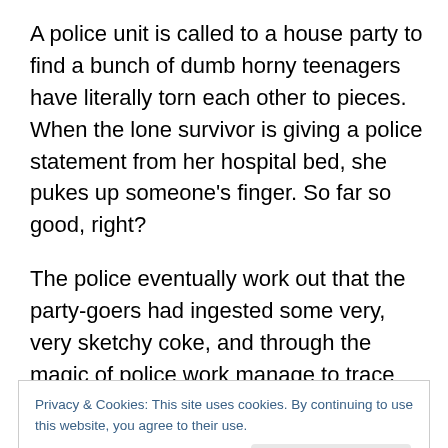A police unit is called to a house party to find a bunch of dumb horny teenagers have literally torn each other to pieces. When the lone survivor is giving a police statement from her hospital bed, she pukes up someone's finger. So far so good, right?
The police eventually work out that the party-goers had ingested some very, very sketchy coke, and through the magic of police work manage to trace the supplier who happens to be a very nasty individual indeed. What's more, they find out he's heading off to a secluded cabin by
Privacy & Cookies: This site uses cookies. By continuing to use this website, you agree to their use.
To find out more, including how to control cookies, see here: Cookie Policy
pretty quickly. As the genius dual meaning tagline says: